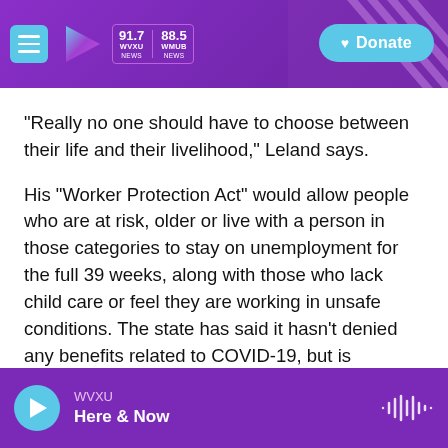WVXU 91.7 NEWS | WHMB 88.5 NEWS | Donate
“Really no one should have to choose between their life and their livelihood,” Leland says.
His “Worker Protection Act” would allow people who are at risk, older or live with a person in those categories to stay on unemployment for the full 39 weeks, along with those who lack child care or feel they are working in unsafe conditions. The state has said it hasn’t denied any benefits related to COVID-19, but is evaluating the criteria it deems appropriate to refuse to return to work.
WVXU | Here & Now